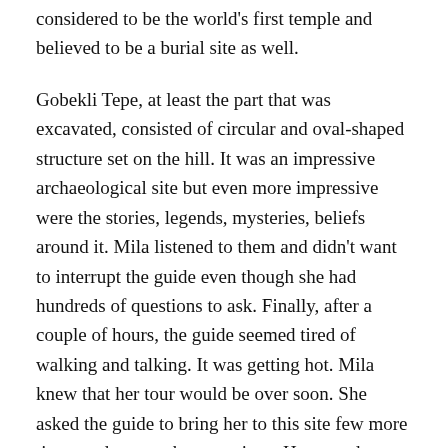considered to be the world's first temple and believed to be a burial site as well.
Gobekli Tepe, at least the part that was excavated, consisted of circular and oval-shaped structure set on the hill. It was an impressive archaeological site but even more impressive were the stories, legends, mysteries, beliefs around it. Mila listened to them and didn't want to interrupt the guide even though she had hundreds of questions to ask. Finally, after a couple of hours, the guide seemed tired of walking and talking. It was getting hot. Mila knew that her tour would be over soon. She asked the guide to bring her to this site few more times and answer her questions. He agreed to meet her again the next day and bring her to Gobekli Tepe.
Mila and the guide met three more times. She would